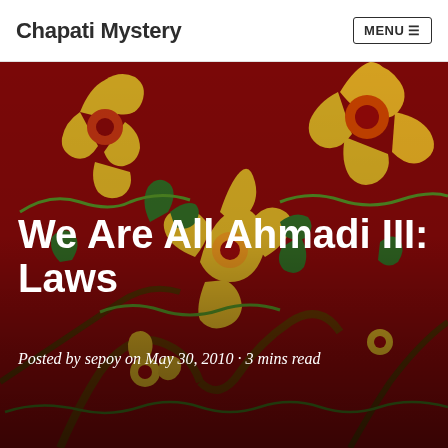Chapati Mystery
[Figure (photo): A richly patterned floral textile or carpet with deep crimson/red background featuring golden yellow and green floral and leaf motifs in an intricate repeating pattern.]
We Are All Ahmadi III: Laws
Posted by sepoy on May 30, 2010 · 3 mins read